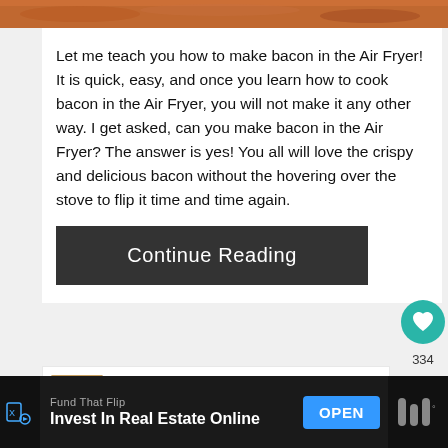[Figure (photo): Top strip showing a close-up of bacon cooked in an air fryer, orange-brown tones]
Let me teach you how to make bacon in the Air Fryer! It is quick, easy, and once you learn how to cook bacon in the Air Fryer, you will not make it any other way. I get asked, can you make bacon in the Air Fryer? The answer is yes! You all will love the crispy and delicious bacon without the hovering over the stove to flip it time and time again.
Continue Reading
[Figure (illustration): Heart/like icon button (teal circle) with count 334 below it, and a share icon button]
[Figure (photo): What's Next panel with thumbnail image and text: WHAT'S NEXT → Air Fryer Roasted...]
Fund That Flip  Invest In Real Estate Online  OPEN